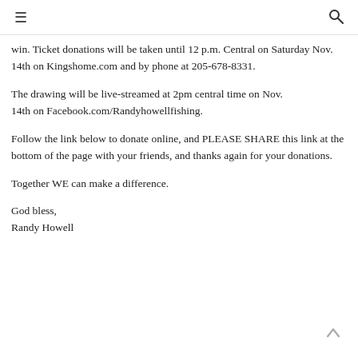≡  🔍
win. Ticket donations will be taken until 12 p.m. Central on Saturday Nov. 14th on Kingshome.com and by phone at 205-678-8331.
The drawing will be live-streamed at 2pm central time on Nov. 14th on Facebook.com/Randyhowellfishing.
Follow the link below to donate online, and PLEASE SHARE this link at the bottom of the page with your friends, and thanks again for your donations.
Together WE can make a difference.
God bless,
Randy Howell